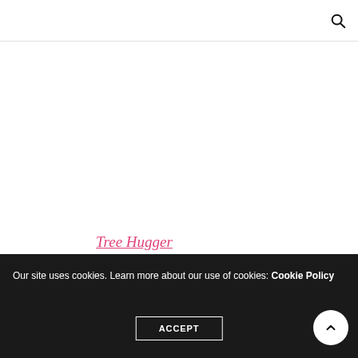[Figure (other): Large white/blank content area below header]
Tree Hugger
Our site uses cookies. Learn more about our use of cookies: Cookie Policy
ACCEPT